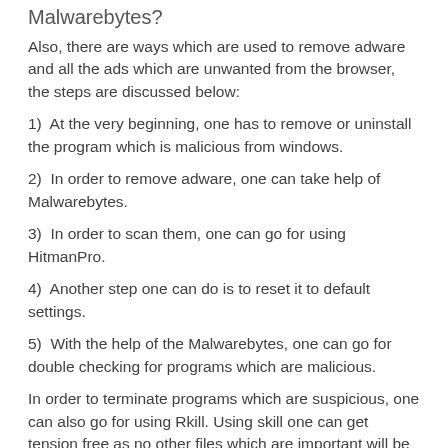Malwarebytes?
Also, there are ways which are used to remove adware and all the ads which are unwanted from the browser, the steps are discussed below:
1)  At the very beginning, one has to remove or uninstall the program which is malicious from windows.
2)  In order to remove adware, one can take help of Malwarebytes.
3)  In order to scan them, one can go for using HitmanPro.
4)  Another step one can do is to reset it to default settings.
5)  With the help of the Malwarebytes, one can go for double checking for programs which are malicious.
In order to terminate programs which are suspicious, one can also go for using Rkill. Using skill one can get tension free as no other files which are important will be deleted as it only deletes